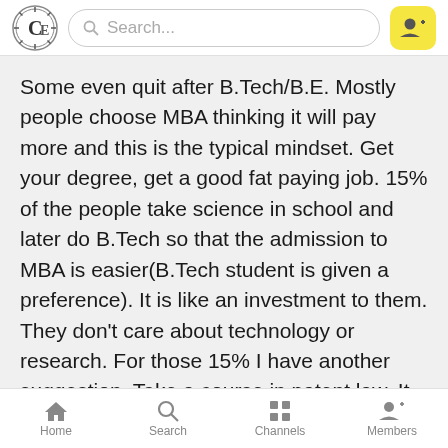Search...
Some even quit after B.Tech/B.E. Mostly people choose MBA thinking it will pay more and this is the typical mindset. Get your degree, get a good fat paying job. 15% of the people take science in school and later do B.Tech so that the admission to MBA is easier(B.Tech student is given a preference). It is like an investment to them. They don't care about technology or research. For those 15% I have another suggestion. Take a course in patent law. It is even more paying than an MBA and only a person with a science background can do it as you will have to deal with technical stuff.
Home  Search  Channels  Members